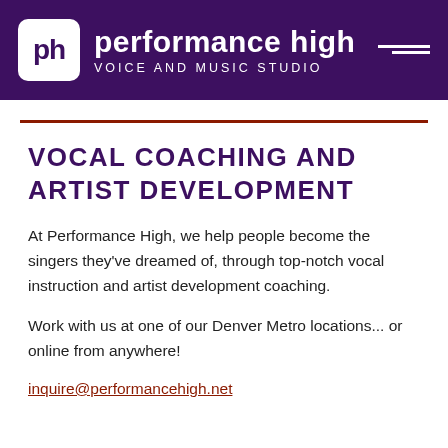ph performance high VOICE AND MUSIC STUDIO
VOCAL COACHING AND ARTIST DEVELOPMENT
At Performance High, we help people become the singers they've dreamed of, through top-notch vocal instruction and artist development coaching.
Work with us at one of our Denver Metro locations... or online from anywhere!
inquire@performancehigh.net